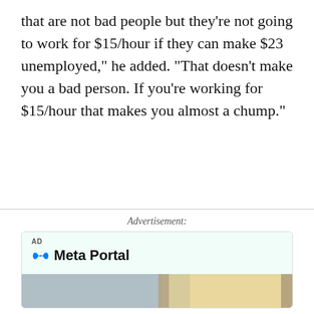that are not bad people but they're not going to work for $15/hour if they can make $23 unemployed," he added. "That doesn't make you a bad person. If you're working for $15/hour that makes you almost a chump."
Advertisement:
[Figure (other): Meta Portal advertisement showing a child playing in a living room with a blue play button overlay. Footer shows logos: Works with Zoom, Microsoft Teams, webex.]